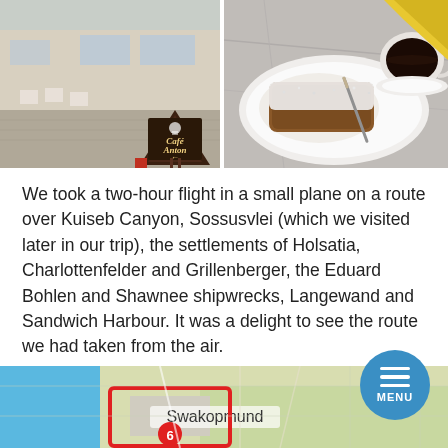[Figure (photo): Left photo: outdoor patio of Café Anton with a dark wooden A-frame sandwich board sign reading 'Café Anton' with an arrow, chairs and tables visible in background]
[Figure (photo): Right photo: close-up of a powdered sugar pastry/strudel on a white plate with a knife and a cup of black coffee, yellow napkin visible]
We took a two-hour flight in a small plane on a route over Kuiseb Canyon, Sossusvlei (which we visited later in our trip), the settlements of Holsatia, Charlottenfelder and Grillenberger, the Eduard Bohlen and Shawnee shipwrecks, Langewand and Sandwich Harbour. It was a delight to see the route we had taken from the air.
[Figure (map): Map strip at the bottom showing Swakopmund marked with a red location pin and route highlight on a blue/green/grey map background]
[Figure (other): Circular blue menu button with three horizontal white lines and the word MENU below them]